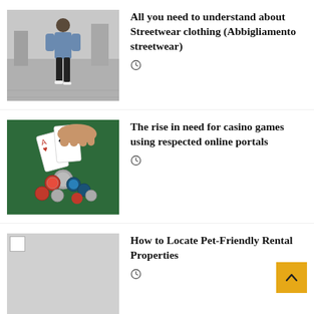[Figure (photo): Man in denim jacket and black pants walking on a city street]
All you need to understand about Streetwear clothing (Abbigliamento streetwear)
[Figure (photo): Casino cards and poker chips on a green table]
The rise in need for casino games using respected online portals
[Figure (photo): Placeholder broken image thumbnail]
How to Locate Pet-Friendly Rental Properties